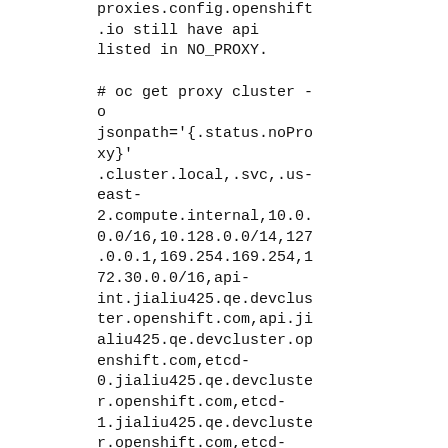proxies.config.openshift.io still have api listed in NO_PROXY.

# oc get proxy cluster -o jsonpath='{.status.noProxy}'
.cluster.local,.svc,.us-east-2.compute.internal,10.0.0.0/16,10.128.0.0/14,127.0.0.1,169.254.169.254,172.30.0.0/16,api-int.jialiu425.qe.devcluster.openshift.com,api.jialiu425.qe.devcluster.openshift.com,etcd-0.jialiu425.qe.devcluster.openshift.com,etcd-1.jialiu425.qe.devcluster.openshift.com,etcd-2.jialiu425.qe.devcluster.openshift.com,localhost,test.no-proxy.comYou have new mai

That make me remember
https://bugzilla.redhat.com/show_bug.cgi?